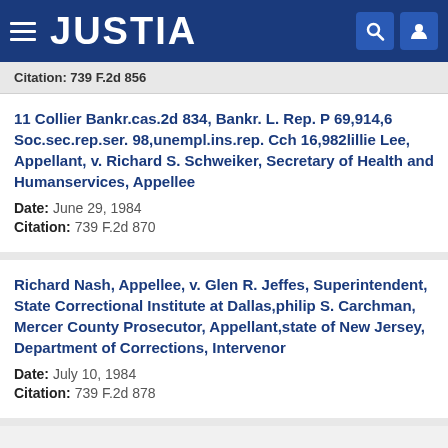JUSTIA
Citation: 739 F.2d 856
11 Collier Bankr.cas.2d 834, Bankr. L. Rep. P 69,914,6 Soc.sec.rep.ser. 98,unempl.ins.rep. Cch 16,982lillie Lee, Appellant, v. Richard S. Schweiker, Secretary of Health and Humanservices, Appellee
Date: June 29, 1984
Citation: 739 F.2d 870
Richard Nash, Appellee, v. Glen R. Jeffes, Superintendent, State Correctional Institute at Dallas,philip S. Carchman, Mercer County Prosecutor, Appellant,state of New Jersey, Department of Corrections, Intervenor
Date: July 10, 1984
Citation: 739 F.2d 878